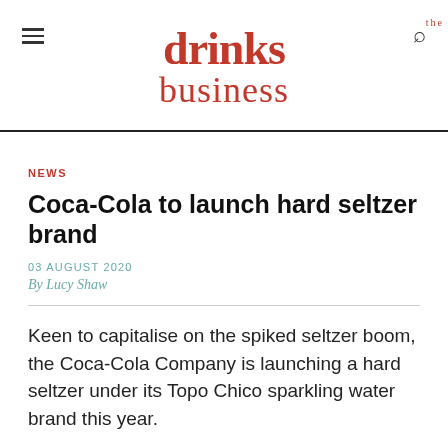the drinks business
NEWS
Coca-Cola to launch hard seltzer brand
03 AUGUST 2020
By Lucy Shaw
Keen to capitalise on the spiked seltzer boom, the Coca-Cola Company is launching a hard seltzer under its Topo Chico sparkling water brand this year.